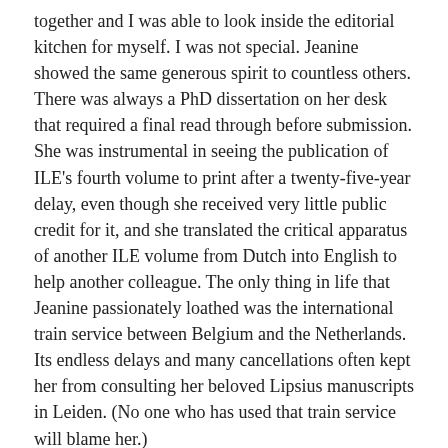together and I was able to look inside the editorial kitchen for myself. I was not special. Jeanine showed the same generous spirit to countless others. There was always a PhD dissertation on her desk that required a final read through before submission. She was instrumental in seeing the publication of ILE's fourth volume to print after a twenty-five-year delay, even though she received very little public credit for it, and she translated the critical apparatus of another ILE volume from Dutch into English to help another colleague. The only thing in life that Jeanine passionately loathed was the international train service between Belgium and the Netherlands. Its endless delays and many cancellations often kept her from consulting her beloved Lipsius manuscripts in Leiden. (No one who has used that train service will blame her.)
Aside from her inability to say no, the other factor keeping her in-tray full was her widely admired